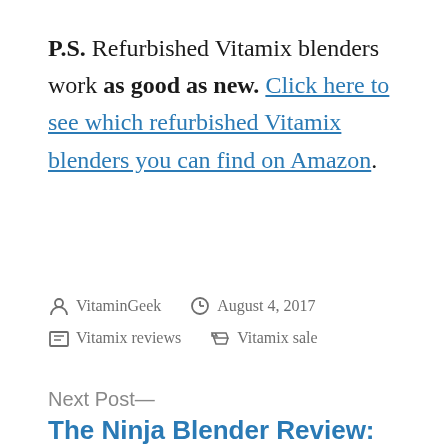P.S. Refurbished Vitamix blenders work as good as new. Click here to see which refurbished Vitamix blenders you can find on Amazon.
Posted by VitaminGeek  August 4, 2017  Vitamix reviews  Vitamix sale
Next Post— The Ninja Blender Review: Make